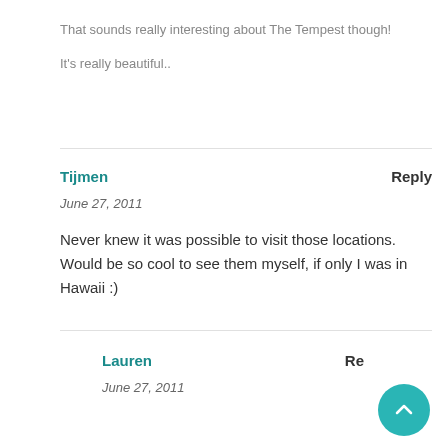That sounds really interesting about The Tempest though!
It's really beautiful..
Tijmen
Reply
June 27, 2011
Never knew it was possible to visit those locations. Would be so cool to see them myself, if only I was in Hawaii :)
Lauren
Re...
June 27, 2011